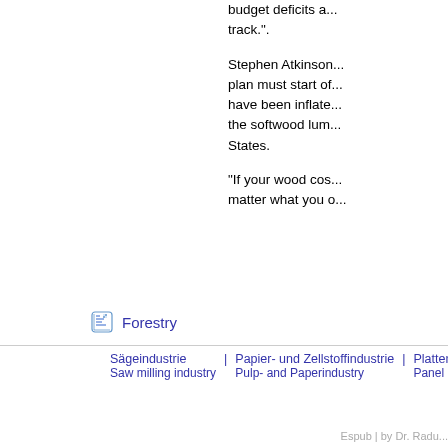budget deficits a... track.".
Stephen Atkinson... plan must start of... have been inflate... the softwood lum... States.
"If your wood cos... matter what you o...
Forestry
Sägeindustrie | Papier- und Zellstoffindustrie | Plattenindustrie
Saw milling industry | Pulp- and Paperindustry | Panel Industry
Espub | by Dr. Radu...